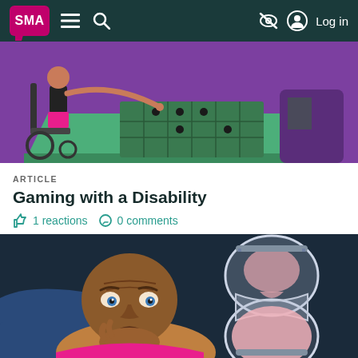SMA | Menu | Search | Log in
[Figure (illustration): Illustration of a person in a wheelchair playing a board game at a green table against a purple background]
ARTICLE
Gaming with a Disability
1 reactions  0 comments
[Figure (illustration): Illustration of a worried man lying down looking at an hourglass against a dark navy background]
ARTICLE
Fear of Death Because of SMA